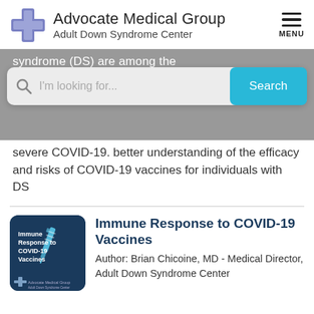[Figure (logo): Advocate Medical Group Adult Down Syndrome Center logo with purple cross and text]
syndrome (DS) are among the
[Figure (screenshot): Search bar with placeholder text 'I'm looking for...' and blue Search button]
severe COVID-19. better understanding of the efficacy and risks of COVID-19 vaccines for individuals with DS
[Figure (illustration): Book/article thumbnail showing 'Immune Response to COVID-19 Vaccines' with syringe illustration on dark blue background]
Immune Response to COVID-19 Vaccines
Author: Brian Chicoine, MD - Medical Director, Adult Down Syndrome Center